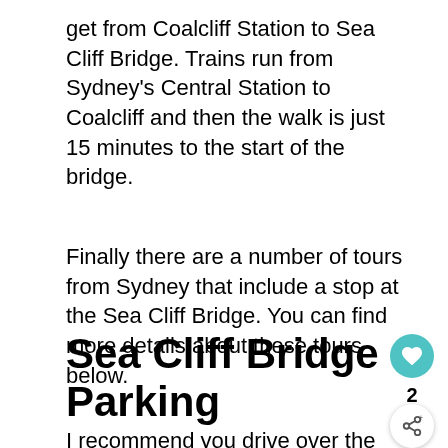get from Coalcliff Station to Sea Cliff Bridge. Trains run from Sydney's Central Station to Coalcliff and then the walk is just 15 minutes to the start of the bridge.
Finally there are a number of tours from Sydney that include a stop at the Sea Cliff Bridge. You can find more details about these tours below.
Sea Cliff Bridge Parking
I recommend you drive over the bridge first